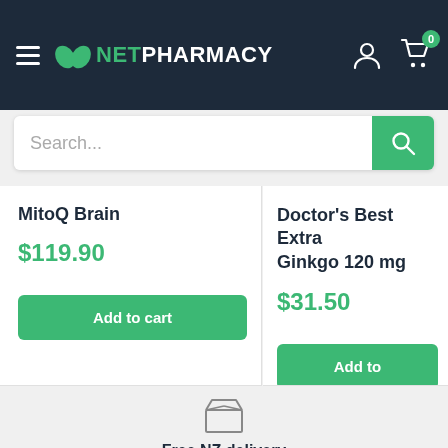NetPharmacy
Search...
MitoQ Brain
$119.90
Doctor's Best Extra Ginkgo 120 mg
$31.50
[Figure (illustration): Box/package delivery icon in gray outline style]
Free NZ delivery
Spend over $100 and get free shipping within New Zealand (non-